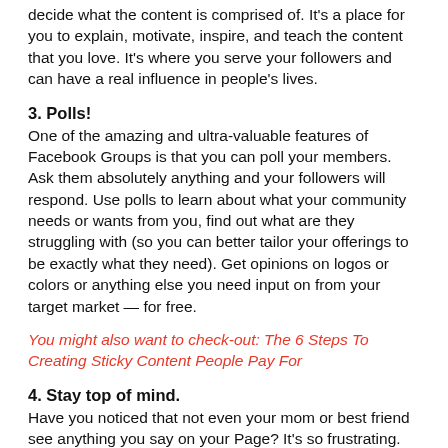decide what the content is comprised of. It's a place for you to explain, motivate, inspire, and teach the content that you love. It's where you serve your followers and can have a real influence in people's lives.
3. Polls!
One of the amazing and ultra-valuable features of Facebook Groups is that you can poll your members. Ask them absolutely anything and your followers will respond. Use polls to learn about what your community needs or wants from you, find out what are they struggling with (so you can better tailor your offerings to be exactly what they need). Get opinions on logos or colors or anything else you need input on from your target market — for free.
You might also want to check-out: The 6 Steps To Creating Sticky Content People Pay For
4. Stay top of mind.
Have you noticed that not even your mom or best friend see anything you say on your Page? It's so frustrating. The exciting thing with your Group is that anything and everything you post in your Group WILL appear in your member's feeds. The more you post, the more you show up in people's lives. (Facebook Simply doesn't...